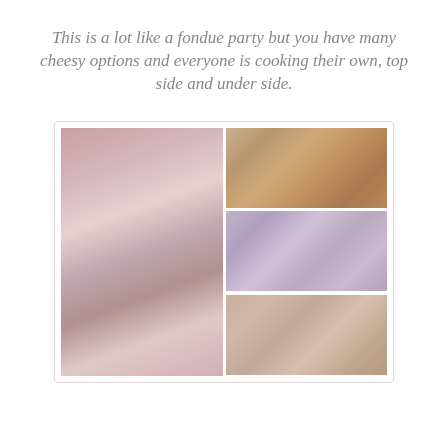This is a lot like a fondue party but you have many cheesy options and everyone is cooking their own, top side and under side.
[Figure (photo): A collage of four party food photos showing a decorated dinner table with pink settings and a raclette grill, a platter of assorted meats and vegetables, labeled cheese varieties on a board, and a bowl with sausages and bread.]